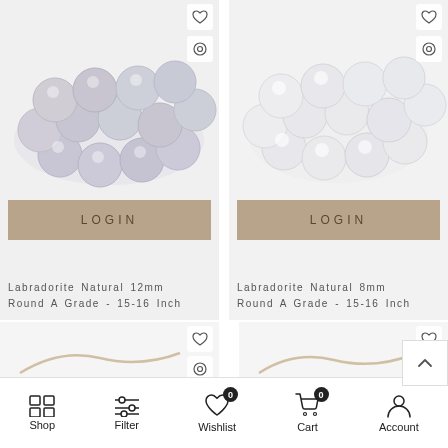[Figure (photo): Gray labradorite beads strand, coiled, round beads with pearlescent sheen]
[Figure (photo): White/clear labradorite beads strand, smaller round beads]
LOGIN
LOGIN
Labradorite Natural 12mm Round A Grade - 15-16 Inch
Labradorite Natural 8mm Round A Grade - 15-16 Inch
[Figure (photo): Partial view of jewelry item in lower left product card]
[Figure (photo): Partial view of jewelry item in lower right product card]
Shop   Filter   Wishlist 0   Cart 0   Account